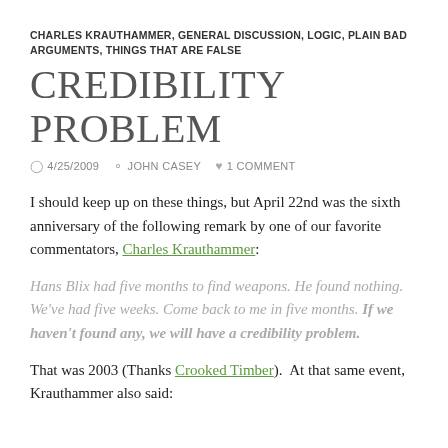CHARLES KRAUTHAMMER, GENERAL DISCUSSION, LOGIC, PLAIN BAD ARGUMENTS, THINGS THAT ARE FALSE
CREDIBILITY PROBLEM
4/25/2009   JOHN CASEY   1 COMMENT
I should keep up on these things, but April 22nd was the sixth anniversary of the following remark by one of our favorite commentators, Charles Krauthammer:
Hans Blix had five months to find weapons. He found nothing. We've had five weeks. Come back to me in five months. If we haven't found any, we will have a credibility problem.
That was 2003 (Thanks Crooked Timber).  At that same event, Krauthammer also said: